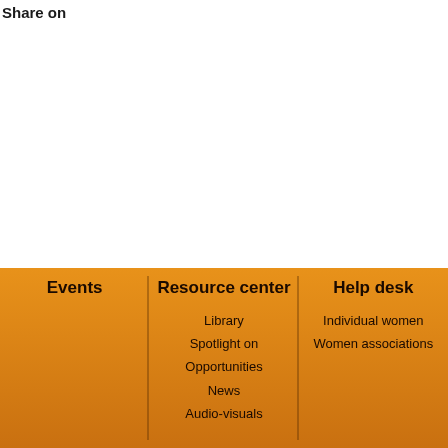Share on
Events | Resource center | Help desk | Library | Spotlight on | Opportunities | News | Audio-visuals | Individual women | Women associations